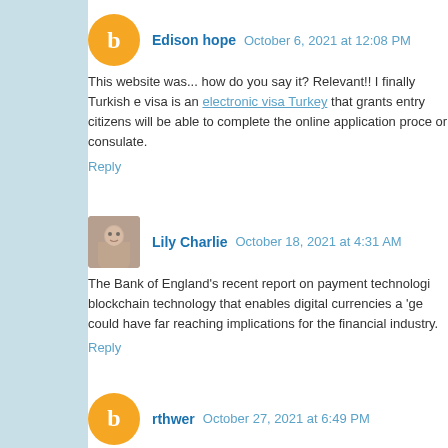Edison hope  October 6, 2021 at 12:08 PM
This website was... how do you say it? Relevant!! I finally Turkish e visa is an electronic visa Turkey that grants entry citizens will be able to complete the online application proce or consulate.
Reply
Lily Charlie  October 18, 2021 at 4:31 AM
The Bank of England's recent report on payment technologi blockchain technology that enables digital currencies a 'ge could have far reaching implications for the financial industry
Reply
rthwer  October 27, 2021 at 6:49 PM
STZ Token is an ERC-20 utility token that is designed to be attribution of e-sports and blockchain based digital ... cypher
Reply